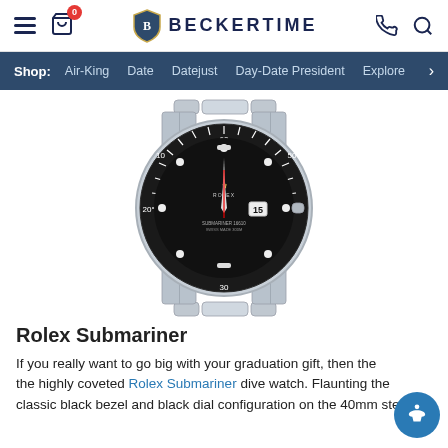BECKERTIME — Shop: Air-King | Date | Datejust | Day-Date President | Explore
[Figure (photo): Rolex Submariner watch with black bezel and black dial on stainless steel Oyster bracelet, photographed on white background]
Rolex Submariner
If you really want to go big with your graduation gift, then the highly coveted Rolex Submariner dive watch. Flaunting the classic black bezel and black dial configuration on the 40mm steel